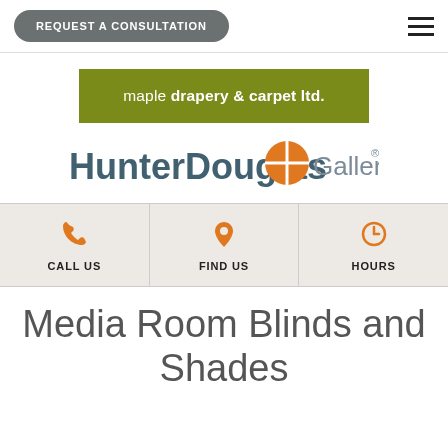REQUEST A CONSULTATION
[Figure (logo): Maple Drapery & Carpet Ltd. logo — olive green rectangle with white text: 'maple drapery & carpet ltd.']
[Figure (logo): HunterDouglas Gallery logo — bold dark teal 'HunterDouglas' text, orange four-quadrant circle icon, grey 'Gallery' text with registered mark]
CALL US | FIND US | HOURS
Media Room Blinds and Shades